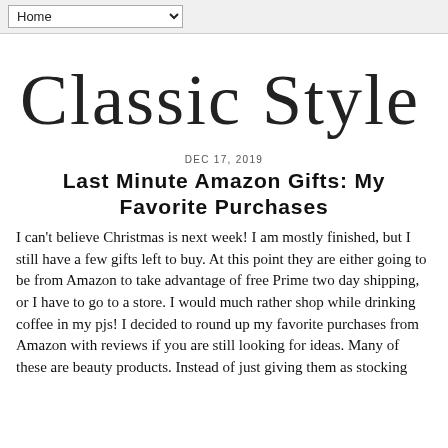Home
[Figure (illustration): Classic Style Home cursive script logo]
DEC 17, 2019
Last Minute Amazon Gifts: My Favorite Purchases
I can't believe Christmas is next week! I am mostly finished, but I still have a few gifts left to buy. At this point they are either going to be from Amazon to take advantage of free Prime two day shipping, or I have to go to a store. I would much rather shop while drinking coffee in my pjs! I decided to round up my favorite purchases from Amazon with reviews if you are still looking for ideas. Many of these are beauty products. Instead of just giving them as stocking